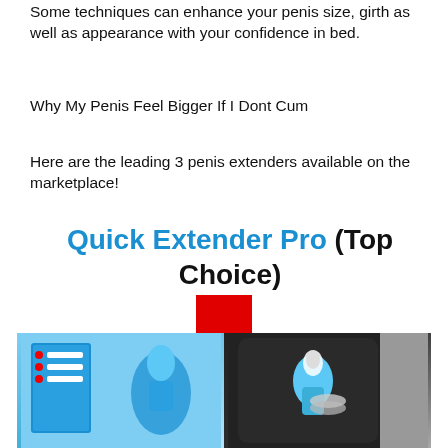Some techniques can enhance your penis size, girth as well as appearance with your confidence in bed.
Why My Penis Feel Bigger If I Dont Cum
Here are the leading 3 penis extenders available on the marketplace!
Quick Extender Pro (Top Choice)
[Figure (illustration): A large red downward-pointing arrow graphic]
[Figure (photo): Two product images of a penis extender device: left image shows the product box on a light blue background, right image shows the device on a dark background]